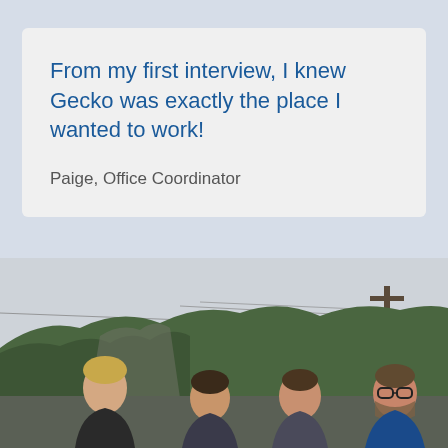From my first interview, I knew Gecko was exactly the place I wanted to work!
Paige, Office Coordinator
[Figure (photo): Group of four men standing outdoors with green hills and rocky cliffs in the background under an overcast sky, with power lines visible overhead.]